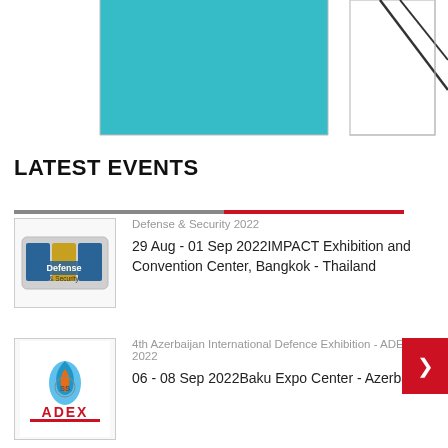[Figure (other): Partial bar chart with teal/turquoise bar on the left and line chart element on the right]
LATEST EVENTS
Defense & Security 2022
29 Aug - 01 Sep 2022IMPACT Exhibition and Convention Center, Bangkok - Thailand
4th Azerbaijan International Defence Exhibition - ADEX 2022
06 - 08 Sep 2022Baku Expo Center - Azerbaijan